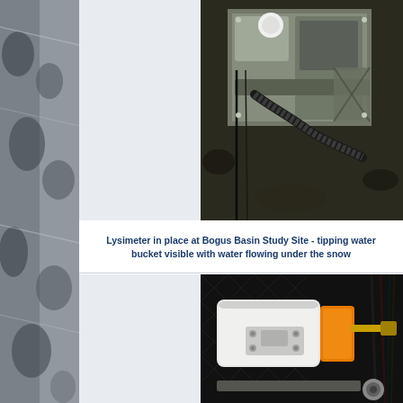[Figure (photo): Aerial/top-down view of lysimeter equipment installed at Bogus Basin Study Site, showing metal frame, tubes, cables and hoses on soil/ground]
Lysimeter in place at Bogus Basin Study Site - tipping water bucket visible with water flowing under the snow
[Figure (photo): Close-up view of tipping bucket mechanism inside dark rubber-lined container, showing white plastic housing with orange bracket and cables]